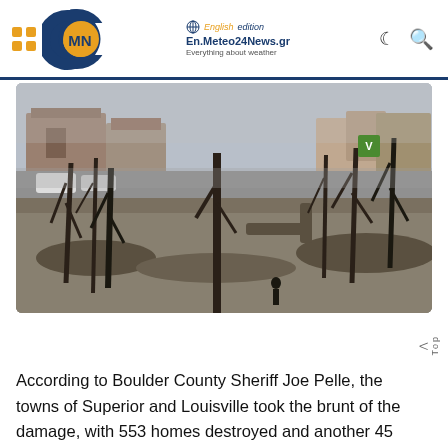En.Meteo24News.gr — Everything about weather | English edition
[Figure (photo): Aerial/ground-level view of wildfire destruction in Boulder County, Colorado showing burnt trees, rubble, ash and destroyed homes, with intact houses visible in the background.]
According to Boulder County Sheriff Joe Pelle, the towns of Superior and Louisville took the brunt of the damage, with 553 homes destroyed and another 45 damaged in